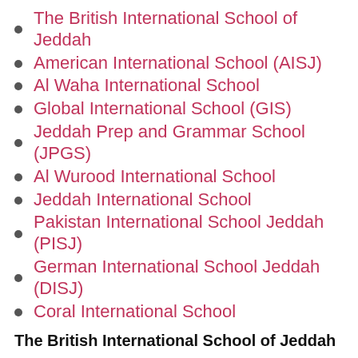The British International School of Jeddah
American International School (AISJ)
Al Waha International School
Global International School (GIS)
Jeddah Prep and Grammar School (JPGS)
Al Wurood International School
Jeddah International School
Pakistan International School Jeddah (PISJ)
German International School Jeddah (DISJ)
Coral International School
The British International School of Jeddah
This school was established in 1977 and stands for the bold bliss of the brightest hearts